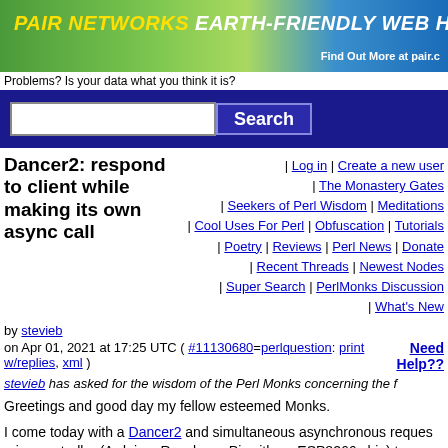[Figure (illustration): PAIR NETWORKS EARTH-FRIENDLY WEB HOSTING banner with green leaf background and blue sky. Text: Find Out More at pair.c]
Problems? Is your data what you think it is?
[Figure (screenshot): Search bar with input field and Search button on dark blue background]
Dancer2: respond to client while making its own async call
| Log in | Create a new user | The Monastery Gates | Seekers of Perl Wisdom | Meditations | Cool Uses For Perl | Obfuscation | Tutorials | Poetry | Reviews | Perl News | Donate | Recent Threads | Newest Nodes | Super Search | PerlMonks Discussion | What's New
by stevieb
on Apr 01, 2021 at 17:25 UTC ( #11130680=perlquestion: print w/replies, xml )
Need Help??
stevieb has asked for the wisdom of the Perl Monks concerning the f
Greetings and good day my fellow esteemed Monks.
I come today with a Dancer2 and simultaneous asynchronous reques microcontroller (Arduino, Raspberry Pi, with an ESP8266 chip) t